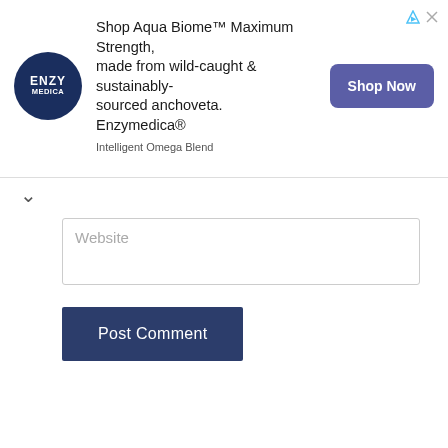[Figure (infographic): Enzymedica advertisement banner: circular dark navy logo with ENZY MEDICA text, ad copy reading 'Shop Aqua Biome™ Maximum Strength, made from wild-caught & sustainably-sourced anchoveta. Enzymedica® Intelligent Omega Blend', and a purple 'Shop Now' button on the right.]
Website
Post Comment